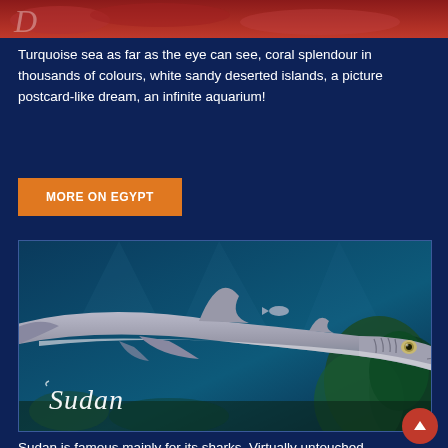[Figure (photo): Partial top banner showing coral/red sea life image]
Turquoise sea as far as the eye can see, coral splendour in thousands of colours, white sandy deserted islands, a picture postcard-like dream, an infinite aquarium!
MORE ON EGYPT
[Figure (photo): Underwater photo of a shark swimming over coral reef with the word 'Sudan' in cursive script overlaid on the lower left]
Sudan is famous mainly for its sharks. Virtually untouched coral reefs, including the world famous Shaab Rumi and WWII wreck of Umbria attract divers here.